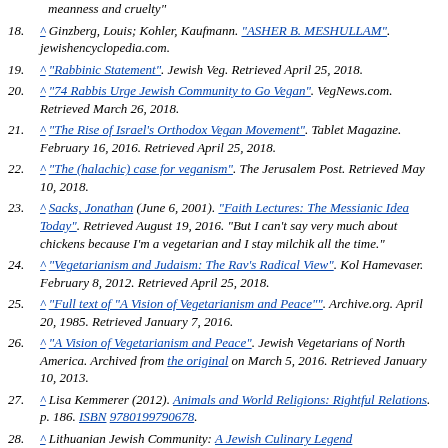(partial top) meanness and cruelty"
18. ^ Ginzberg, Louis; Kohler, Kaufmann. "ASHER B. MESHULLAM". jewishencyclopedia.com.
19. ^ "Rabbinic Statement". Jewish Veg. Retrieved April 25, 2018.
20. ^ "74 Rabbis Urge Jewish Community to Go Vegan". VegNews.com. Retrieved March 26, 2018.
21. ^ "The Rise of Israel's Orthodox Vegan Movement". Tablet Magazine. February 16, 2016. Retrieved April 25, 2018.
22. ^ "The (halachic) case for veganism". The Jerusalem Post. Retrieved May 10, 2018.
23. ^ Sacks, Jonathan (June 6, 2001). "Faith Lectures: The Messianic Idea Today". Retrieved August 19, 2016. "But I can't say very much about chickens because I'm a vegetarian and I stay milchik all the time."
24. ^ "Vegetarianism and Judaism: The Rav's Radical View". Kol Hamevaser. February 8, 2012. Retrieved April 25, 2018.
25. ^ "Full text of "A Vision of Vegetarianism and Peace"". Archive.org. April 20, 1985. Retrieved January 7, 2016.
26. ^ "A Vision of Vegetarianism and Peace". Jewish Vegetarians of North America. Archived from the original on March 5, 2016. Retrieved January 10, 2013.
27. ^ Lisa Kemmerer (2012). Animals and World Religions: Rightful Relations. p. 186. ISBN 9780199790678.
28. ^ Lithuanian Jewish Community: A Jewish Culinary Legend